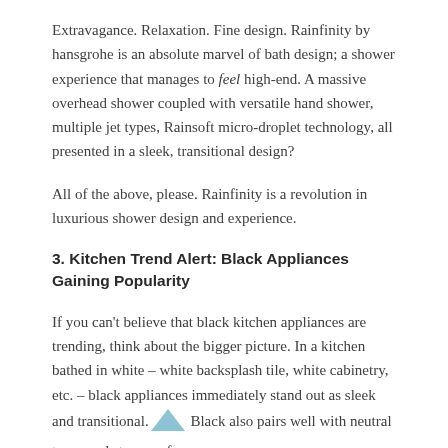Extravagance. Relaxation. Fine design. Rainfinity by hansgrohe is an absolute marvel of bath design; a shower experience that manages to feel high-end. A massive overhead shower coupled with versatile hand shower, multiple jet types, Rainsoft micro-droplet technology, all presented in a sleek, transitional design?
All of the above, please. Rainfinity is a revolution in luxurious shower design and experience.
3. Kitchen Trend Alert: Black Appliances Gaining Popularity
If you can't believe that black kitchen appliances are trending, think about the bigger picture. In a kitchen bathed in white – white backsplash tile, white cabinetry, etc. – black appliances immediately stand out as sleek and transitional. Black also pairs well with neutral tones and stone surfaces.
Black stainless steel appliances have been penetrating the